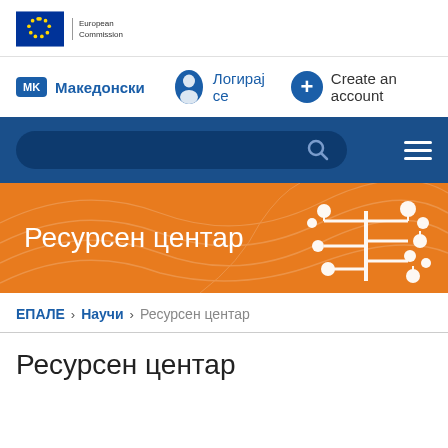[Figure (logo): European Commission logo with EU stars and text 'European Commission']
MK  Македонски   Логирај се   Create an account
[Figure (screenshot): Search bar on dark blue background with hamburger menu icon]
Ресурсен центар
ЕПАЛЕ > Научи > Ресурсен центар
Ресурсен центар